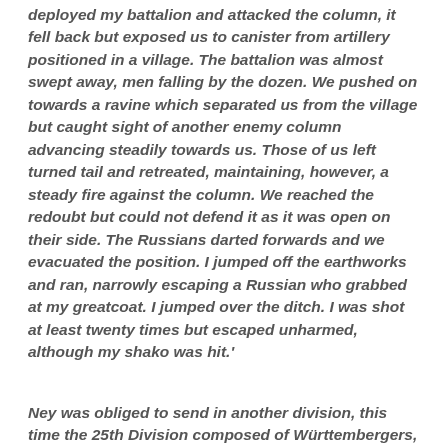deployed my battalion and attacked the column, it fell back but exposed us to canister from artillery positioned in a village. The battalion was almost swept away, men falling by the dozen. We pushed on towards a ravine which separated us from the village but caught sight of another enemy column advancing steadily towards us. Those of us left turned tail and retreated, maintaining, however, a steady fire against the column. We reached the redoubt but could not defend it as it was open on their side. The Russians darted forwards and we evacuated the position. I jumped off the earthworks and ran, narrowly escaping a Russian who grabbed at my greatcoat. I jumped over the ditch. I was shot at least twenty times but escaped unharmed, although my shako was hit.'
Ney was obliged to send in another division, this time the 25th Division composed of Württembergers, in support. Junot's corps assisted and the Reserve Cavalry, too, were brought